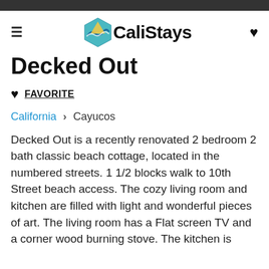CaliStays
Decked Out
FAVORITE
California > Cayucos
Decked Out is a recently renovated 2 bedroom 2 bath classic beach cottage, located in the numbered streets. 1 1/2 blocks walk to 10th Street beach access. The cozy living room and kitchen are filled with light and wonderful pieces of art. The living room has a Flat screen TV and a corner wood burning stove. The kitchen is well appointed and includes...